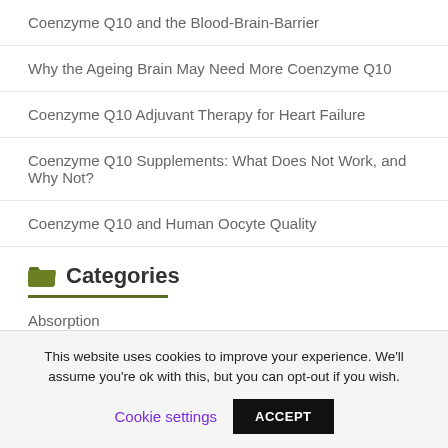Coenzyme Q10 and the Blood-Brain-Barrier
Why the Ageing Brain May Need More Coenzyme Q10
Coenzyme Q10 Adjuvant Therapy for Heart Failure
Coenzyme Q10 Supplements: What Does Not Work, and Why Not?
Coenzyme Q10 and Human Oocyte Quality
Categories
Absorption
Antiaging
This website uses cookies to improve your experience. We'll assume you're ok with this, but you can opt-out if you wish.
Cookie settings  ACCEPT